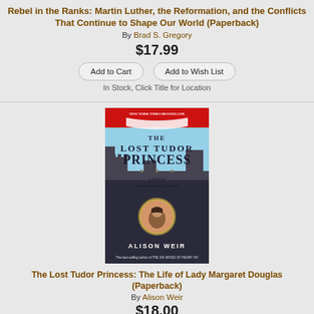Rebel in the Ranks: Martin Luther, the Reformation, and the Conflicts That Continue to Shape Our World (Paperback)
By Brad S. Gregory
$17.99
Add to Cart | Add to Wish List
In Stock, Click Title for Location
[Figure (photo): Book cover of The Lost Tudor Princess by Alison Weir]
The Lost Tudor Princess: The Life of Lady Margaret Douglas (Paperback)
By Alison Weir
$18.00
Add to Cart | Add to Wish List
In Stock, Click Title for Location